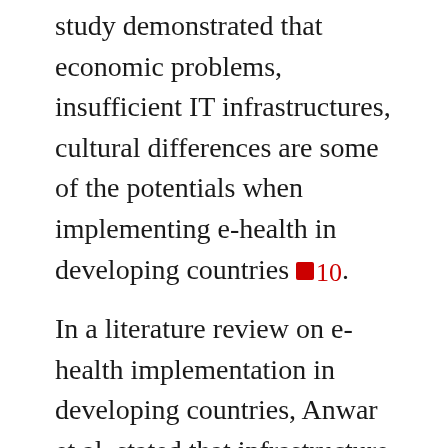study demonstrated that economic problems, insufficient IT infrastructures, cultural differences are some of the potentials when implementing e-health in developing countries [10].
In a literature review on e-health implementation in developing countries, Anwar et al. stated that infrastructure for the internet and networks and number and quality of health care professionals must be increased to implement the e-health system successfully to these countries [26]. Kundi also indicated the same arguments [27]. Thus, it is essential to provide information and communication